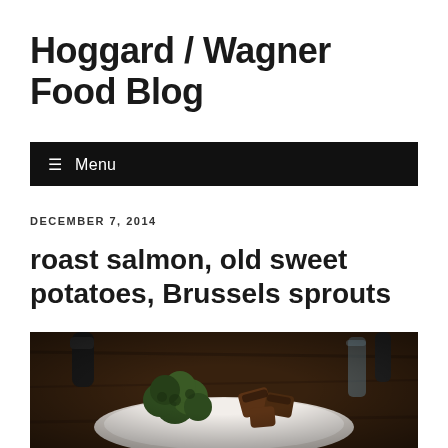Hoggard / Wagner Food Blog
☰ Menu
DECEMBER 7, 2014
roast salmon, old sweet potatoes, Brussels sprouts
[Figure (photo): A plate of food on a wooden table featuring Brussels sprouts, roasted sweet potatoes or squash pieces, with glasses and condiments in the background, dark moody lighting.]